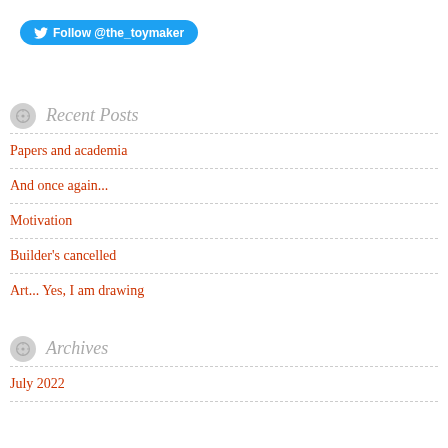[Figure (other): Twitter follow button with bird icon and text 'Follow @the_toymaker']
Recent Posts
Papers and academia
And once again...
Motivation
Builder's cancelled
Art... Yes, I am drawing
Archives
July 2022